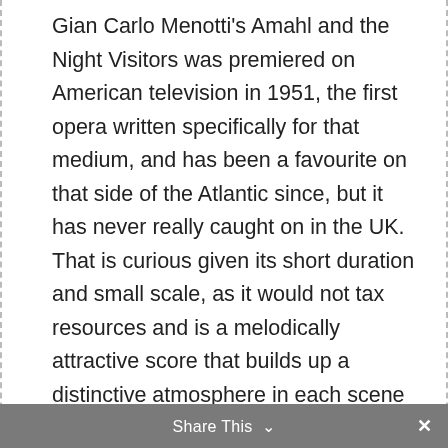Gian Carlo Menotti's Amahl and the Night Visitors was premiered on American television in 1951, the first opera written specifically for that medium, and has been a favourite on that side of the Atlantic since, but it has never really caught on in the UK. That is curious given its short duration and small scale, as it would not tax resources and is a melodically attractive score that builds up a distinctive atmosphere in each scene through playing around with
We use cookies on our website to give you the most relevant experience by remembering your preferences and repeat visits. By clicking "Accept", you consent to the use of ALL the cookies.
Cookie settings
ACCEPT
Share This ✓ ×